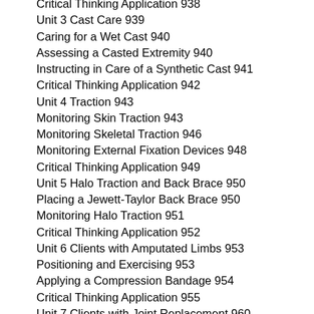Critical Thinking Application 938
Unit 3 Cast Care 939
Caring for a Wet Cast 940
Assessing a Casted Extremity 940
Instructing in Care of a Synthetic Cast 941
Critical Thinking Application 942
Unit 4 Traction 943
Monitoring Skin Traction 943
Monitoring Skeletal Traction 946
Monitoring External Fixation Devices 948
Critical Thinking Application 949
Unit 5 Halo Traction and Back Brace 950
Placing a Jewett-Taylor Back Brace 950
Monitoring Halo Traction 951
Critical Thinking Application 952
Unit 6 Clients with Amputated Limbs 953
Positioning and Exercising 953
Applying a Compression Bandage 954
Critical Thinking Application 955
Unit 7 Clients with Joint Replacement 960